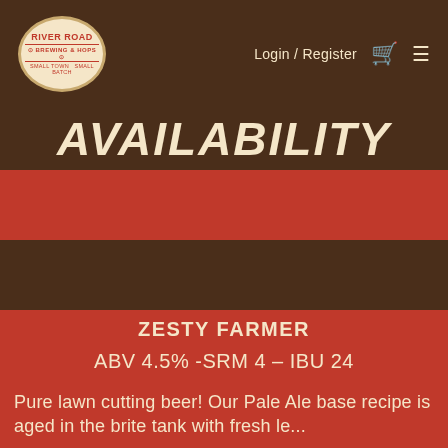[Figure (logo): River Road Brewing & Hops oval logo with red text on cream background, small town small batch tagline with truck illustration]
Login / Register
AVAILABILITY
ZESTY FARMER
ABV 4.5% -SRM 4 – IBU 24
Pure lawn cutting beer! Our Pale Ale base recipe is aged in the brite tank with fresh lemon and...